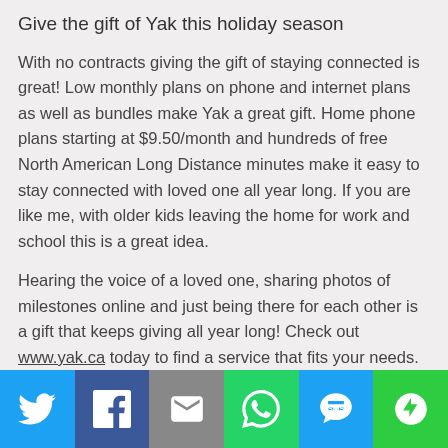Give the gift of Yak this holiday season
With no contracts giving the gift of staying connected is great! Low monthly plans on phone and internet plans as well as bundles make Yak a great gift. Home phone plans starting at $9.50/month and hundreds of free North American Long Distance minutes make it easy to stay connected with loved one all year long. If you are like me, with older kids leaving the home for work and school this is a great idea.
Hearing the voice of a loved one, sharing photos of milestones online and just being there for each other is a gift that keeps giving all year long! Check out www.yak.ca today to find a service that fits your needs.
[Figure (infographic): Social sharing bar with icons for Twitter, Facebook, Email, WhatsApp, SMS, and More (green)]